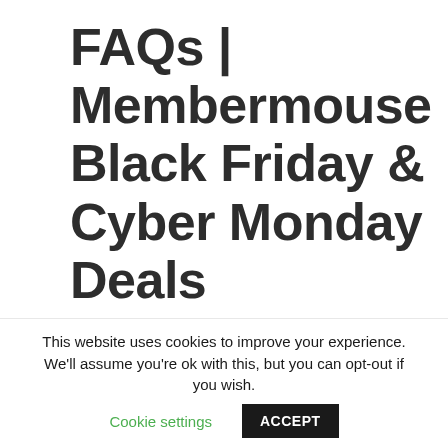FAQs | Membermouse Black Friday & Cyber Monday Deals
🧑 What is Membermouse?
This website uses cookies to improve your experience. We'll assume you're ok with this, but you can opt-out if you wish. Cookie settings ACCEPT